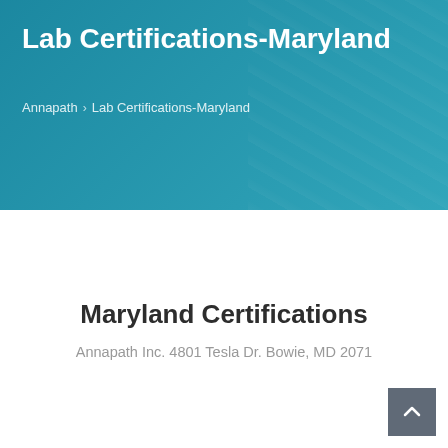Lab Certifications-Maryland
Annapath > Lab Certifications-Maryland
Maryland Certifications
Annapath Inc. 4801 Tesla Dr. Bowie, MD 2071